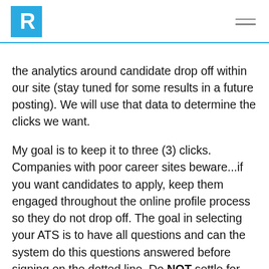R [logo] / hamburger menu
the analytics around candidate drop off within our site (stay tuned for some results in a future posting).  We will use that data to determine the clicks we want.
My goal is to keep it to three (3) clicks.  Companies with poor career sites beware...if you want candidates to apply, keep them engaged throughout the online profile process so they do not drop off. The goal in selecting your ATS is to have all questions and can the system do this questions answered before signing on the dotted line.  Do NOT settle for, oh yeah, it can do that.  I have heard too many horror stories over the last few months of “100K later and we are totally